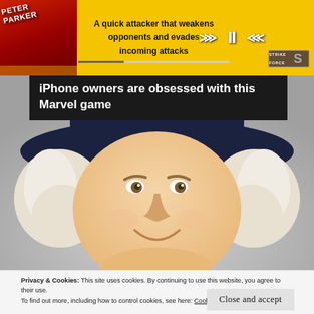[Figure (screenshot): Advertisement banner for Marvel Strike Force game featuring Peter Parker character, yellow background with text 'A quick attacker that weakens opponents and evades incoming attacks', playback controls, and Strike Force logo]
iPhone owners are obsessed with this Marvel game
[Figure (illustration): Illustrated portrait of a smiling man with white curly hair wearing a dark navy cowboy hat, positioned in front of a gray gradient background (Quaker Oats man style mascot)]
Privacy & Cookies: This site uses cookies. By continuing to use this website, you agree to their use.
To find out more, including how to control cookies, see here: Cookie Policy
Close and accept